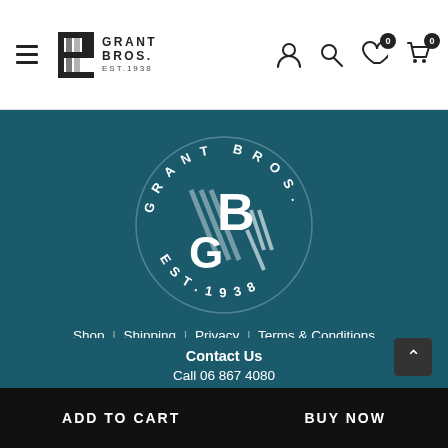Grant Bros. Est. 1938 — navigation header with hamburger menu, logo, and icons (user, search, wishlist 0, cart 0)
[Figure (logo): Grant Bros. circular logo with GB monogram and EST.1938 text on teal background]
Shop | Shipping | Privacy | Terms & Conditions
Contact Us
Call 06 867 4080
69 Gladstone Road, Gisborne
ADD TO CART    BUY NOW